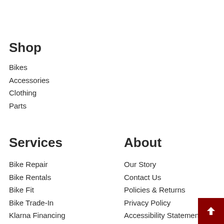Shop
Bikes
Accessories
Clothing
Parts
Services
Bike Repair
Bike Rentals
Bike Fit
Bike Trade-In
Klarna Financing
About
Our Story
Contact Us
Policies & Returns
Privacy Policy
Accessibility Statement